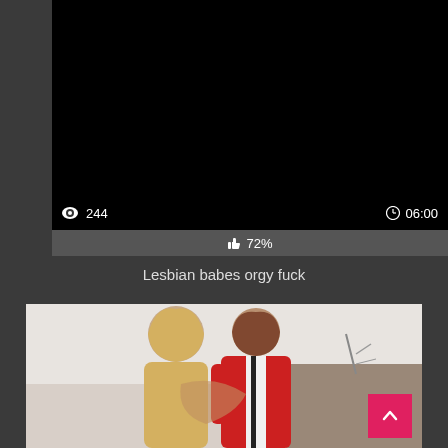[Figure (screenshot): Video player showing a black screen (video not loaded/playing). Bottom overlay shows view count of 244 and duration of 06:00. Below the player is a rating bar showing 72% likes.]
Lesbian babes orgy fuck
[Figure (photo): Thumbnail image of two women in a room, one wearing a red and white outfit, appearing to embrace or kiss. A pink/red back-to-top arrow button is overlaid in the bottom right corner.]